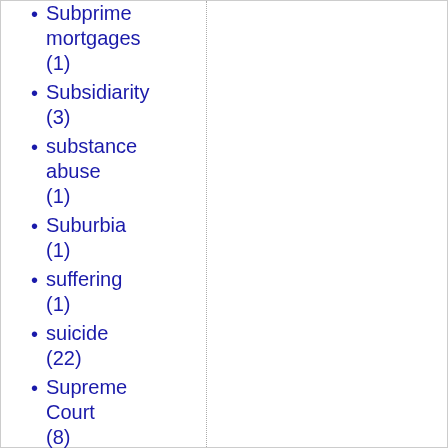Subprime mortgages (1)
Subsidiarity (3)
substance abuse (1)
Suburbia (1)
suffering (1)
suicide (22)
Supreme Court (8)
surrogacy (1)
survey (1)
Survey (1)
SUV (2)